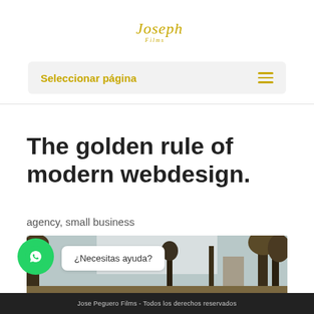[Figure (logo): Cursive italic golden logo text reading 'Joseph' or similar script brand name]
Seleccionar página
The golden rule of modern webdesign.
agency, small business
[Figure (photo): Outdoor autumn/winter landscape photo with bare trees against a light sky]
¿Necesitas ayuda?
Jose Peguero Films - Todos los derechos reservados